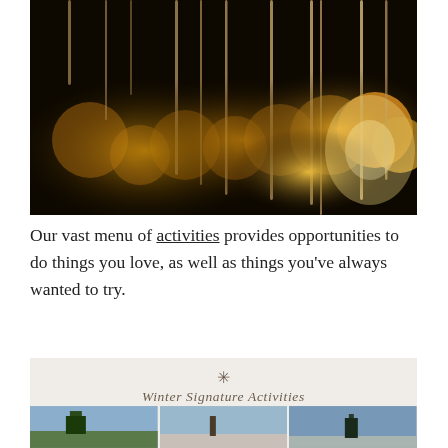[Figure (photo): Close-up photo of glowing icicles hanging against a dark background with warm bokeh lights (golden/amber tones)]
Our vast menu of activities provides opportunities to do things you love, as well as things you've always wanted to try.
Winter Signature Activities
[Figure (photo): Three thumbnail photos of winter outdoor scenes at the bottom of the page]